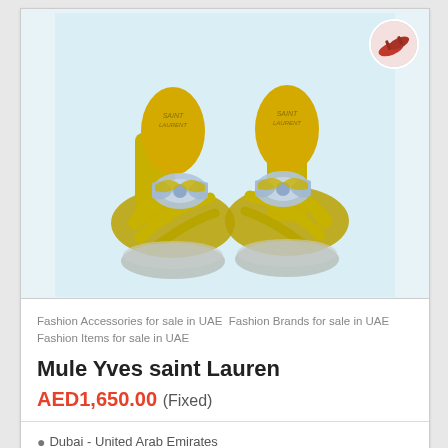[Figure (photo): Product listing photo of a pair of gold and silver metallic Yves Saint Laurent mule sandals with large rhinestone/crystal bow embellishments on a light blue background. A small circular thumbnail of red shoes appears in the top-right corner.]
Fashion Accessories for sale in UAE  Fashion Brands for sale in UAE  Fashion Items for sale in UAE
Mule Yves saint Lauren
AED1,650.00 (Fixed)
Dubai - United Arab Emirates